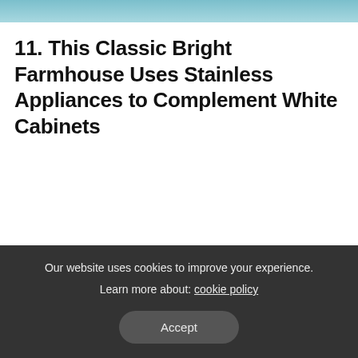11. This Classic Bright Farmhouse Uses Stainless Appliances to Complement White Cabinets
Our website uses cookies to improve your experience. Learn more about: cookie policy
Accept